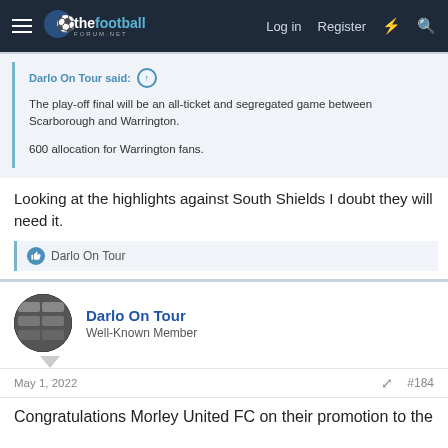thefootballforum.net — Log in | Register
Darlo On Tour said: The play-off final will be an all-ticket and segregated game between Scarborough and Warrington. 600 allocation for Warrington fans.
Looking at the highlights against South Shields I doubt they will need it.
Darlo On Tour
Darlo On Tour — Well-Known Member
May 1, 2022  #184
Congratulations Morley United FC on their promotion to the